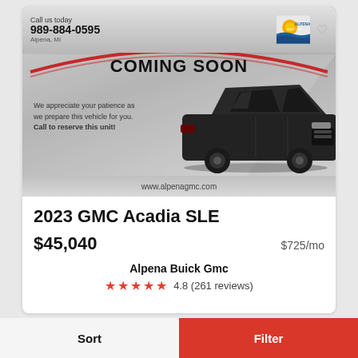[Figure (photo): Car dealership listing image showing a black 2023 GMC Acadia SLE SUV on a grey background with 'COMING SOON' text, Alpena Buick GMC dealer logo, contact info 989-884-0595, and website www.alpenagmc.com]
2023 GMC Acadia SLE
$45,040
$725/mo
Alpena Buick Gmc
4.8 (261 reviews)
Sort
Filter